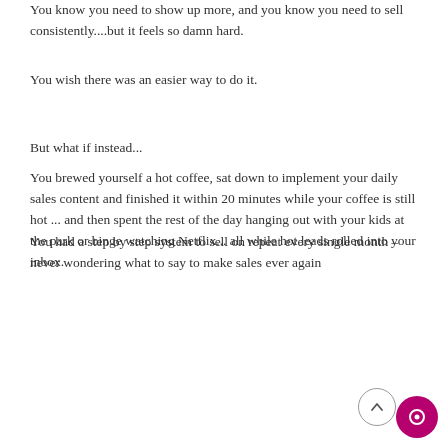You know you need to show up more, and you know you need to sell consistently....but it feels so damn hard.
You wish there was an easier way to do it.
But what if instead...
You brewed yourself a hot coffee, sat down to implement your daily sales content and finished it within 20 minutes while your coffee is still hot ... and then spent the rest of the day hanging out with your kids at the park or binge watching Netflix... all while hot leads rolled into your inbox.
You had a step by step system to sell on repeat every single month – never wondering what to say to make sales ever again